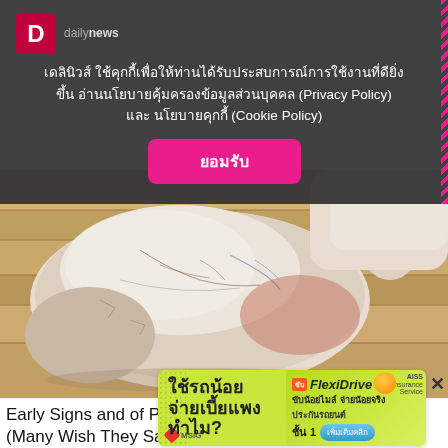เดลินิวส์ ใช้คุกกี้เพื่อให้ท่านได้รับประสบการณ์การใช้งานที่ดียิ่งขึ้น อ่านนโยบายคุ้มครองข้อมูลส่วนบุคคล (Privacy Policy) และ นโยบายคุกกี้ (Cookie Policy)
ยอมรับ
[Figure (photo): Close-up photo of a human foot/heel showing dry, cracked, white scaly skin characteristic of psoriatic arthritis, resting on a wooden floor surface]
Early Signs and of Psoriatic Arthritis (Many Wish They Saw Them Sooner)
[Figure (infographic): Advertisement banner for MSIG FlexiDrive car insurance (ประกันรถยนต์ชั้น 1) with Thai text 'ใช้รถน้อย จ่ายเบี้ยแพง ทำไม?' on a yellow-green background]